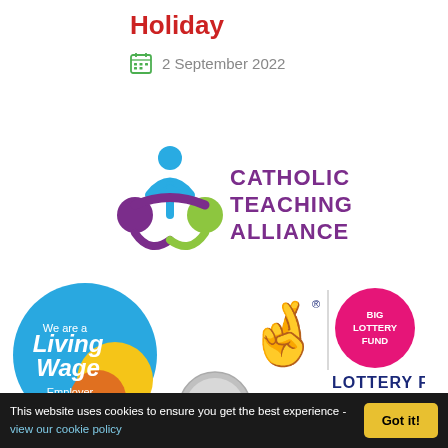Holiday
2 September 2022
[Figure (logo): Catholic Teaching Alliance logo — stylised figures in blue, purple and green with text 'CATHOLIC TEACHING ALLIANCE' in purple]
[Figure (logo): We are a Living Wage Employer circular badge in teal/blue with yellow and orange circles]
[Figure (logo): Big Lottery Fund — Lottery Funded logo with crossed fingers and pink circle]
[Figure (logo): School Games Silver award badge]
This website uses cookies to ensure you get the best experience - view our cookie policy
Got it!